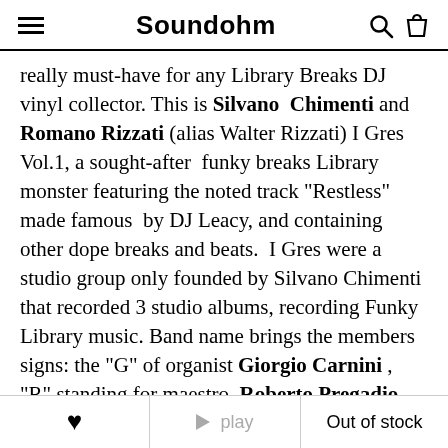Soundohm
really must-have for any Library Breaks DJ vinyl collector. This is Silvano Chimenti and Romano Rizzati (alias Walter Rizzati) I Gres Vol.1, a sought-after funky breaks Library monster featuring the noted track "Restless" made famous by DJ Leacy, and containing other dope breaks and beats. I Gres were a studio group only founded by Silvano Chimenti that recorded 3 studio albums, recording Funky Library music. Band name brings the members signs: the "G" of organist Giorgio Carnini, "R" standing for maestro Roberto Pregadio, "E" was the I Gres drummer Enzo Restuccia and finally the "S" of
♥  ▶ play  Out of stock